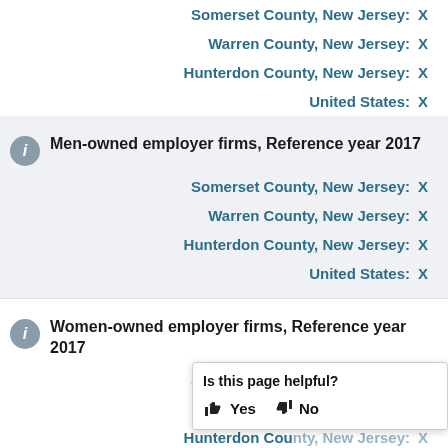Somerset County, New Jersey: X
Warren County, New Jersey: X
Hunterdon County, New Jersey: X
United States: X
Men-owned employer firms, Reference year 2017
Somerset County, New Jersey: X
Warren County, New Jersey: X
Hunterdon County, New Jersey: X
United States: X
Women-owned employer firms, Reference year 2017
Somerset County, New Jersey: X
Warren County, New Jersey: X
Hunterdon County, New Jersey: X
Is this page helpful? Yes No